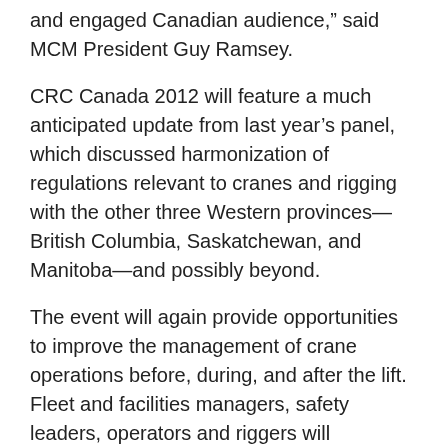and engaged Canadian audience," said MCM President Guy Ramsey.
CRC Canada 2012 will feature a much anticipated update from last year’s panel, which discussed harmonization of regulations relevant to cranes and rigging with the other three Western provinces—British Columbia, Saskatchewan, and Manitoba—and possibly beyond.
The event will again provide opportunities to improve the management of crane operations before, during, and after the lift. Fleet and facilities managers, safety leaders, operators and riggers will participate in sessions to help users apply new regulations; evaluate and safely prepare the work environment; hone inspection skills; manage and maintain equipment; and learn from colleagues and competitors.
The conference will focus on construction, mobile cranes, overhead cranes, hoists and rigging in British Columbia, Alberta, Saskatchewan and Manitoba; the